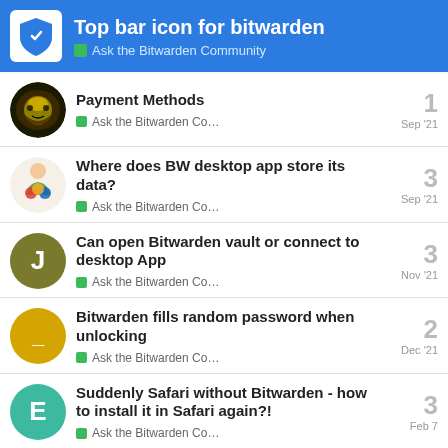Top bar icon for bitwarden — Ask the Bitwarden Community
Payment Methods | Ask the Bitwarden Co... | 1 | Sep '21
Where does BW desktop app store its data? | Ask the Bitwarden Co... | 3 | Sep '21
Can open Bitwarden vault or connect to desktop App | Ask the Bitwarden Co... | 3 | Nov '21
Bitwarden fills random password when unlocking | Ask the Bitwarden Co... | 2 | Dec '21
Suddenly Safari without Bitwarden - how to install it in Safari again?! | Ask the Bitwarden Co... | 3 | Feb 7